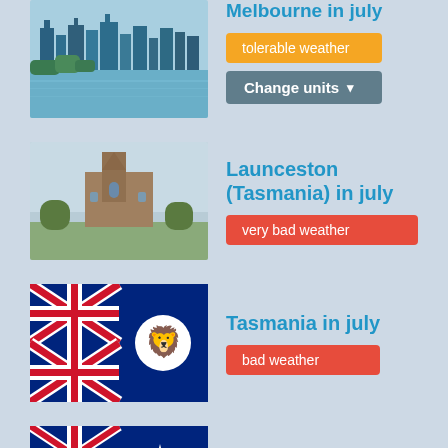Melbourne in july — tolerable weather
Launceston (Tasmania) in july — very bad weather
Tasmania in july — bad weather
Australia in july — good weather
New Zealand in july — bad weather
PLAN YOUR TRIP:
Best time to go to Australia...